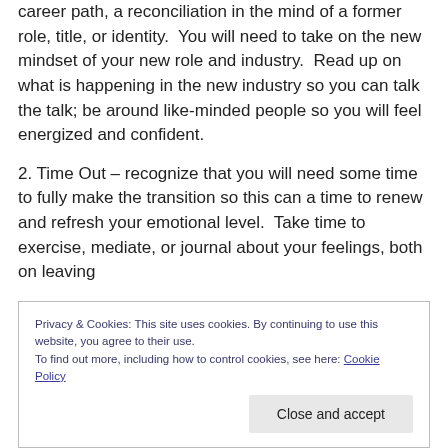career path, a reconciliation in the mind of a former role, title, or identity.  You will need to take on the new mindset of your new role and industry.  Read up on what is happening in the new industry so you can talk the talk; be around like-minded people so you will feel energized and confident.
2. Time Out – recognize that you will need some time to fully make the transition so this can a time to renew and refresh your emotional level.  Take time to exercise, mediate, or journal about your feelings, both on leaving
Privacy & Cookies: This site uses cookies. By continuing to use this website, you agree to their use.
To find out more, including how to control cookies, see here: Cookie Policy